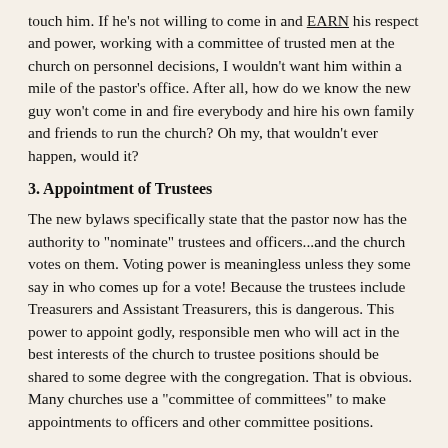touch him. If he's not willing to come in and EARN his respect and power, working with a committee of trusted men at the church on personnel decisions, I wouldn't want him within a mile of the pastor's office. After all, how do we know the new guy won't come in and fire everybody and hire his own family and friends to run the church? Oh my, that wouldn't ever happen, would it?
3. Appointment of Trustees
The new bylaws specifically state that the pastor now has the authority to "nominate" trustees and officers...and the church votes on them. Voting power is meaningless unless they some say in who comes up for a vote! Because the trustees include Treasurers and Assistant Treasurers, this is dangerous. This power to appoint godly, responsible men who will act in the best interests of the church to trustee positions should be shared to some degree with the congregation. That is obvious. Many churches use a "committee of committees" to make appointments to officers and other committee positions.
So that is where we are. We handed the keys of a hyper "pastor led" church to a virtual unknown. And so far, we have paid dearly.